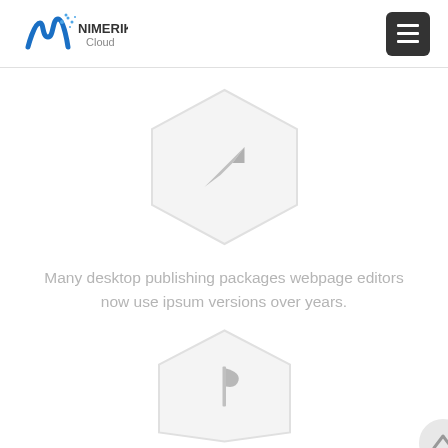[Figure (logo): Nimerik Cloud logo with stylized N icon in blue and text NIMERIK Cloud]
[Figure (illustration): Gray hexagon shape containing a paper plane / send arrow icon]
Many desktop publishing packages webpage editors now use ipsum versions over years.
[Figure (illustration): Gray hexagon shape containing a flag icon, partially visible at bottom]
[Figure (illustration): Circular scroll-to-top button with upward arrow, gray]